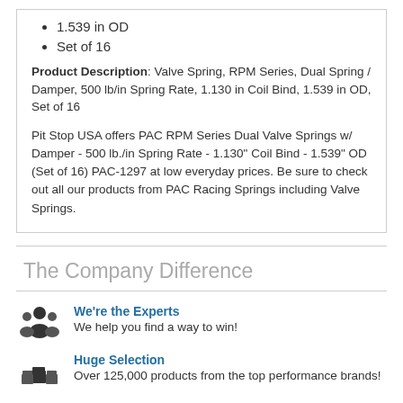1.539 in OD
Set of 16
Product Description: Valve Spring, RPM Series, Dual Spring / Damper, 500 lb/in Spring Rate, 1.130 in Coil Bind, 1.539 in OD, Set of 16
Pit Stop USA offers PAC RPM Series Dual Valve Springs w/ Damper - 500 lb./in Spring Rate - 1.130" Coil Bind - 1.539" OD (Set of 16) PAC-1297 at low everyday prices. Be sure to check out all our products from PAC Racing Springs including Valve Springs.
The Company Difference
We're the Experts
We help you find a way to win!
Huge Selection
Over 125,000 products from the top performance brands!
Free Shipping
On orders over $99!